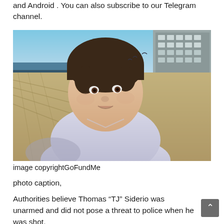and Android . You can also subscribe to our Telegram channel.
[Figure (photo): A young boy with dark bowl-cut hair wearing a white t-shirt, photographed outdoors near a beach boardwalk. Sky, sand, and a building visible in the background.]
image copyrightGoFundMe
photo caption,
Authorities believe Thomas “TJ” Siderio was unarmed and did not pose a threat to police when he was shot.